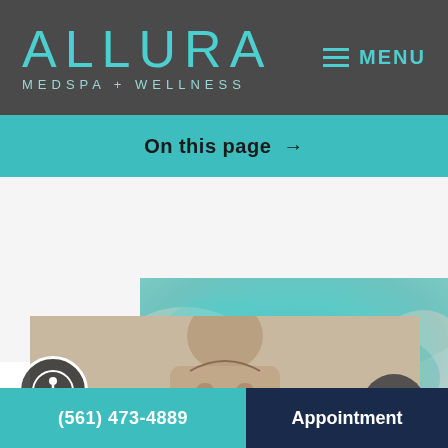[Figure (logo): Allura Medspa + Wellness logo in teal on dark gray header background]
≡ MENU
On this page →
[Figure (photo): Woman looking down against teal/marbled background]
(561) 473-4889
Appointment